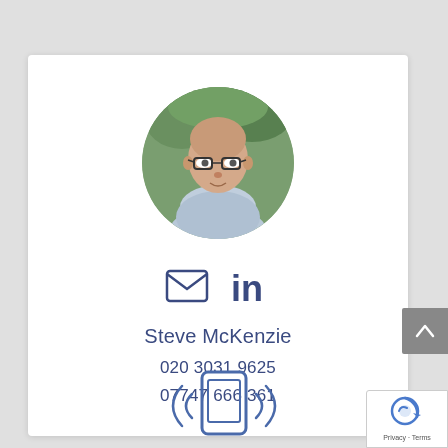[Figure (photo): Circular profile photo of Steve McKenzie, a bald man wearing glasses and a light blue checked shirt, with green foliage background]
[Figure (illustration): Email envelope icon and LinkedIn 'in' icon, both in blue-grey colour]
Steve McKenzie
020 3031 9625
07747 666 361
[Figure (illustration): Partial view of a mobile/device icon with signal waves at the bottom of the page]
[Figure (logo): reCAPTCHA badge with Privacy and Terms text in bottom right corner]